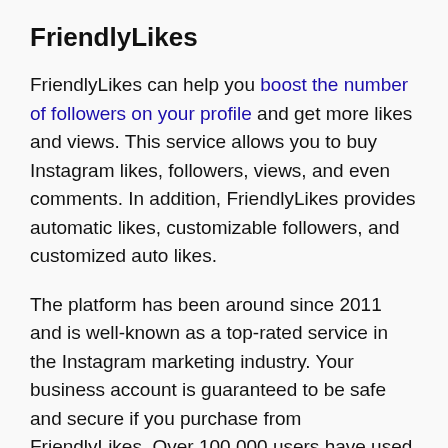FriendlyLikes
FriendlyLikes can help you boost the number of followers on your profile and get more likes and views. This service allows you to buy Instagram likes, followers, views, and even comments. In addition, FriendlyLikes provides automatic likes, customizable followers, and customized auto likes.
The platform has been around since 2011 and is well-known as a top-rated service in the Instagram marketing industry. Your business account is guaranteed to be safe and secure if you purchase from FriendlyLikes. Over 100,000 users have used the service.
FriendlyLikes offers a choice of options for its followers to select from. The basic package is $4.90 and comes with 100 followers. The medium plan is $14.90 and includes 1000 followers. Finally, the most costly option is $109.90,